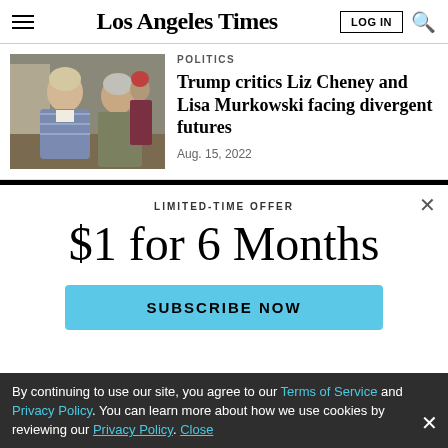Los Angeles Times
POLITICS
Trump critics Liz Cheney and Lisa Murkowski facing divergent futures
Aug. 15, 2022
[Figure (photo): Two women speaking at an indoor event, one in a patterned jacket smiling, another with grey hair in olive jacket]
LIMITED-TIME OFFER
$1 for 6 Months
SUBSCRIBE NOW
By continuing to use our site, you agree to our Terms of Service and Privacy Policy. You can learn more about how we use cookies by reviewing our Privacy Policy. Close